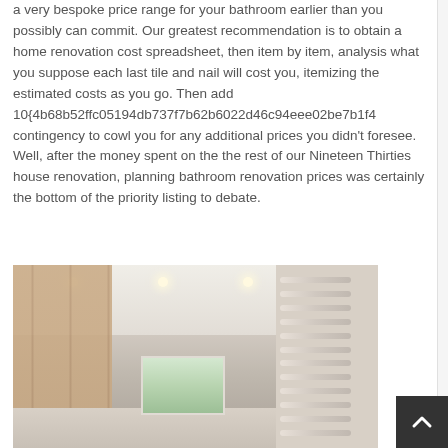a very bespoke price range for your bathroom earlier than you possibly can commit. Our greatest recommendation is to obtain a home renovation cost spreadsheet, then item by item, analysis what you suppose each last tile and nail will cost you, itemizing the estimated costs as you go. Then add 10{4b68b52ffc05194db737f7b62b6022d46c94eee02be7b1f4 contingency to cowl you for any additional prices you didn't foresee. Well, after the money spent on the the rest of our Nineteen Thirties house renovation, planning bathroom renovation prices was certainly the bottom of the priority listing to debate.
[Figure (photo): Interior photo of a modern bathroom hallway with wood-paneled left wall, white ceiling with spotlights, a window at the end, and a towel rail on the right side.]